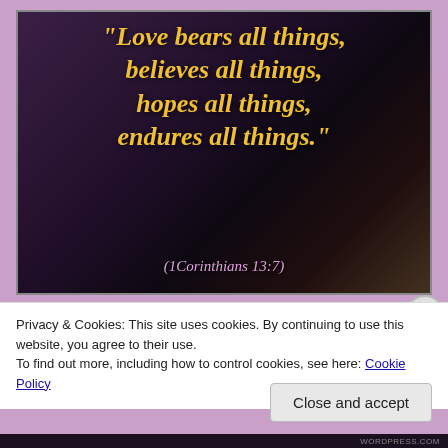[Figure (illustration): Dark background image showing an open book forming a heart shape with bokeh lights. Overlaid in bold italic yellow text is a Bible quote, and below it the verse reference in purple text.]
Privacy & Cookies: This site uses cookies. By continuing to use this website, you agree to their use.
To find out more, including how to control cookies, see here: Cookie Policy